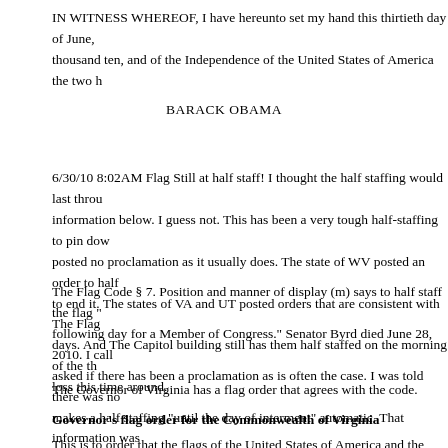IN WITNESS WHEREOF, I have hereunto set my hand this thirtieth day of June, thousand ten, and of the Independence of the United States of America the two h
BARACK OBAMA
6/30/10 8:02AM Flag Still at half staff! I thought the half staffing would last throu information below. I guess not. This has been a very tough half-staffing to pin dow posted no proclamation as it usually does. The state of WV posted an order to half to end it. The states of VA and UT posted orders that are consistent with The Flag days. And The Capitol building still has them half staffed on the morning of the th loss this time around.
The Flag Code § 7. Position and manner of display (m) says to half staff the flag " following day for a Member of Congress." Senator Byrd died June 28, 2010. I call asked if there has been a proclamation as is often the case. I was told there was no makes a half staffing "until the day of interment" automatic. That information was from the above quoted text of the code. Indeed, there is no proclamation posted on site.
The Governor of Virginia has a flag order that agrees with the code.
Governor's flag order for the Commonwealth of Virginia
This is to order that the flags of the United States of America and the Commonwea flags at half staff all public buildings, and this shall be to order the same upon the